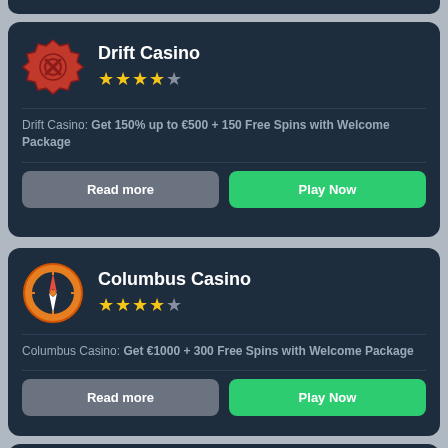[Figure (illustration): Partial top of a casino listing card (dark background strip)]
Drift Casino
★★★★☆
Drift Casino: Get 150% up to €500 + 150 Free Spins with Welcome Package
[Read more] [Play Now]
Columbus Casino
★★★★☆
Columbus Casino: Get €1000 + 300 Free Spins with Welcome Package
[Read more] [Play Now]
BitStarz Casino